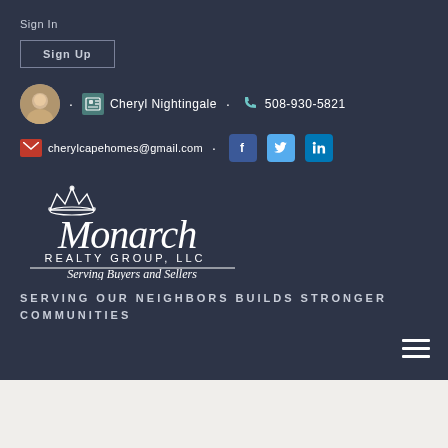Sign In
Sign Up
Cheryl Nightingale • 508-930-5821
cherylcapehomes@gmail.com
[Figure (logo): Monarch Realty Group, LLC - Serving Buyers and Sellers logo in white on dark background]
SERVING OUR NEIGHBORS BUILDS STRONGER COMMUNITIES